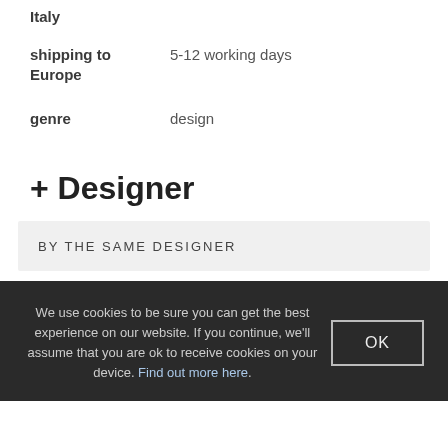Italy
| shipping to Europe | 5-12 working days |
| genre | design |
+ Designer
BY THE SAME DESIGNER
We use cookies to be sure you can get the best experience on our website. If you continue, we'll assume that you are ok to receive cookies on your device. Find out more here.